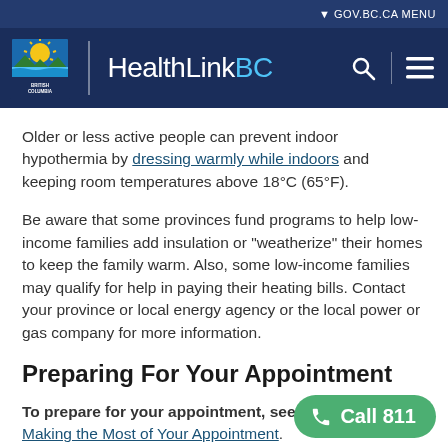GOV.BC.CA MENU | HealthLinkBC
Older or less active people can prevent indoor hypothermia by dressing warmly while indoors and keeping room temperatures above 18°C (65°F).
Be aware that some provinces fund programs to help low-income families add insulation or "weatherize" their homes to keep the family warm. Also, some low-income families may qualify for help in paying their heating bills. Contact your province or local energy agency or the local power or gas company for more information.
Preparing For Your Appointment
To prepare for your appointment, see the topic Making the Most of Your Appointment.